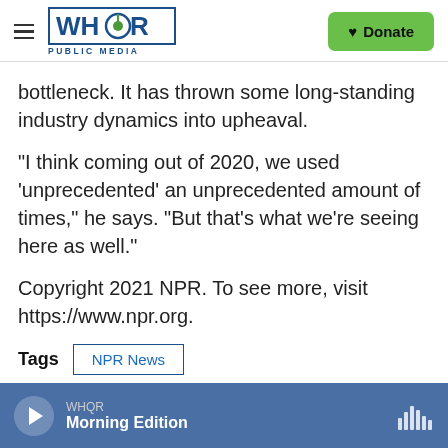WHQR PUBLIC MEDIA | Donate
bottleneck. It has thrown some long-standing industry dynamics into upheaval.
"I think coming out of 2020, we used 'unprecedented' an unprecedented amount of times," he says. "But that's what we're seeing here as well."
Copyright 2021 NPR. To see more, visit https://www.npr.org.
Tags  NPR News
WHQR Morning Edition